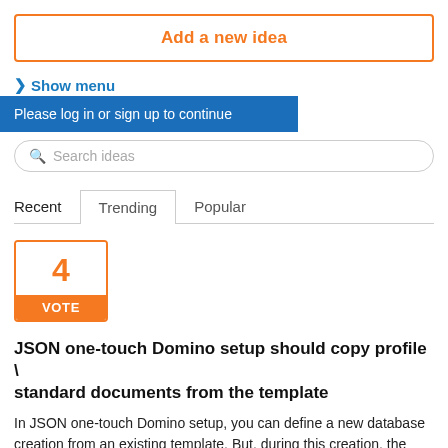Add a new idea
> Show menu
Please log in or sign up to continue
Search ideas
Recent   Trending   Popular
4
VOTE
JSON one-touch Domino setup should copy profile \ standard documents from the template
In JSON one-touch Domino setup, you can define a new database creation from an existing template. But, during this creation, the standard document inside the templates is not copied to the newly created database. It is just creating a blank databa...